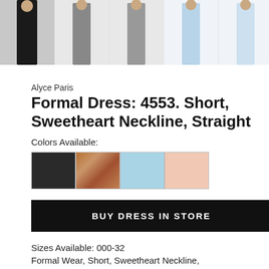[Figure (photo): Row of five thumbnail images of women modeling formal dresses in black, grey, light blue, and blush colorways]
Alyce Paris
Formal Dress: 4553. Short, Sweetheart Neckline, Straight
Colors Available:
[Figure (other): Four color swatches: black, rose gold/bronze, light blue, blush pink]
BUY DRESS IN STORE
Sizes Available: 000-32
Formal Wear, Short, Sweetheart Neckline,